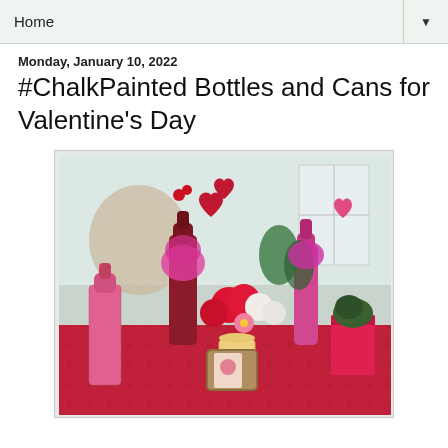Home
Monday, January 10, 2022
#ChalkPainted Bottles and Cans for Valentine's Day
[Figure (photo): Valentine's Day table decoration with chalk-painted bottles and cans filled with red, pink, and fuchsia flowers. A pink bottle in foreground, dark red bottle and pink tall bottle in background, a decorated tin can with greenery, a candle, and a wicker basket with a vintage card. Red tablecloth, white carnations and daisy-like flowers, heart-shaped decorations.]